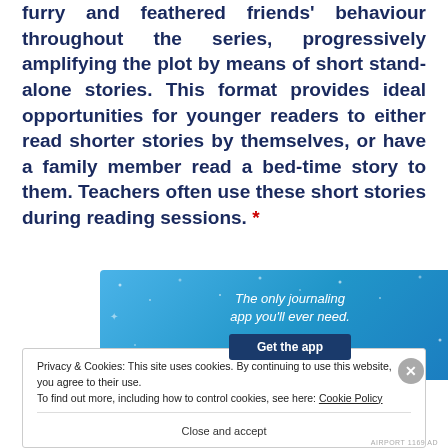furry and feathered friends' behaviour throughout the series, progressively amplifying the plot by means of short stand-alone stories. This format provides ideal opportunities for younger readers to either read shorter stories by themselves, or have a family member read a bed-time story to them. Teachers often use these short stories during reading sessions. *
[Figure (other): Advertisement banner with blue gradient background and sparkle dots, text 'The only journaling app you'll ever need.' and a dark blue 'Get the app' button.]
Privacy & Cookies: This site uses cookies. By continuing to use this website, you agree to their use. To find out more, including how to control cookies, see here: Cookie Policy
Close and accept
AIRPORT 1169 AD